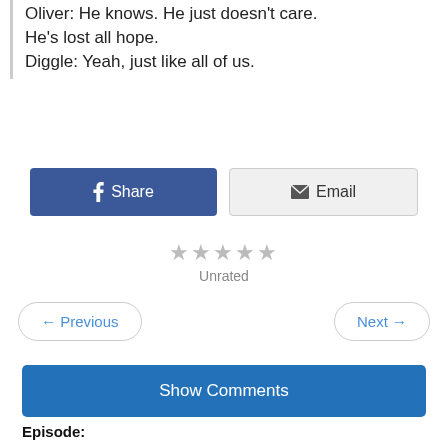Oliver: He knows. He just doesn't care. He's lost all hope.
Diggle: Yeah, just like all of us.
[Figure (other): Facebook Share button and Email button side by side]
Unrated
← Previous
Next →
Show Comments
Episode:
Arrow Season 4 Episode 23: "Schism"
Show:
Arrow
Related Quotes:
Arrow Season 4 Episode 23 Quotes, Arrow Quotes